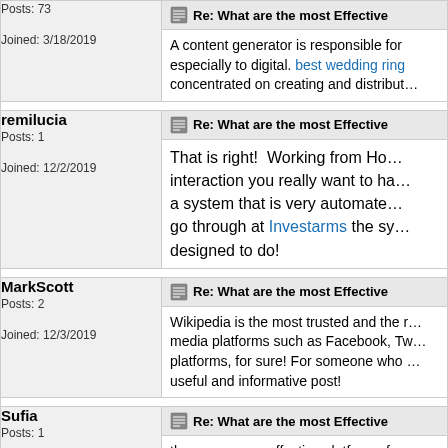Posts: 73
Joined: 3/18/2019
Re: What are the most Effective... A content generator is responsible for... especially to digital. best wedding ring... concentrated on creating and distribut...
remilucia
Posts: 1
Joined: 12/2/2019
Re: What are the most Effective... That is right! Working from Ho... interaction you really want to ha... a system that is very automate... go through at Investarms the sy... designed to do!
MarkScott
Posts: 2
Joined: 12/3/2019
Re: What are the most Effective... Wikipedia is the most trusted and the... media platforms such as Facebook, Tw... platforms, for sure! For someone who... useful and informative post!
Sufia
Posts: 1
Joined: 1/16/2020
Re: What are the most Effective... there are many effective platform of co... website as a professional SEO service...